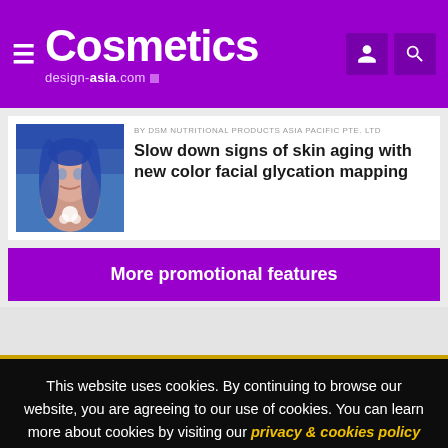Cosmetics design-asia.com
BY DSM NUTRITIONAL PRODUCTS ASIA PACIFIC PTE. LTD
Slow down signs of skin aging with new color facial glycation mapping
More promotional features
This website uses cookies. By continuing to browse our website, you are agreeing to our use of cookies. You can learn more about cookies by visiting our privacy & cookies policy page.
I Agree